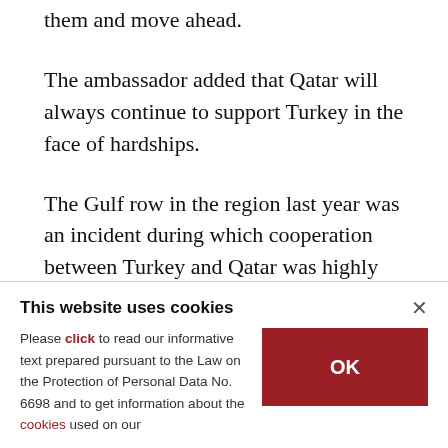them and move ahead.
The ambassador added that Qatar will always continue to support Turkey in the face of hardships.
The Gulf row in the region last year was an incident during which cooperation between Turkey and Qatar was highly visible.
In June 2017, four Gulf countries, led by Saudi
This website uses cookies
Please click to read our informative text prepared pursuant to the Law on the Protection of Personal Data No. 6698 and to get information about the cookies used on our